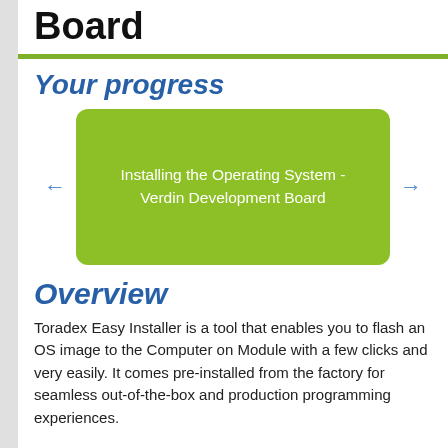Board
Your progress
[Figure (infographic): Navigation widget showing a green rounded rectangle card with text 'Installing the Operating System - Verdin Development Board' and left/right arrow navigation buttons on either side.]
Overview
Toradex Easy Installer is a tool that enables you to flash an OS image to the Computer on Module with a few clicks and very easily. It comes pre-installed from the factory for seamless out-of-the-box and production programming experiences.